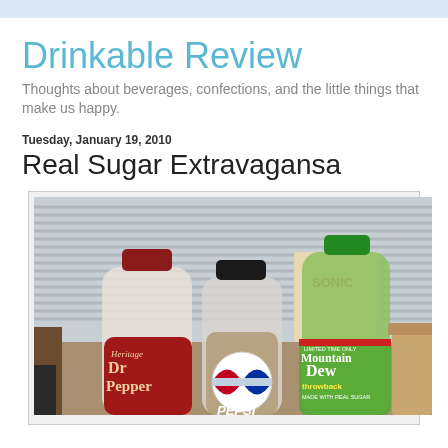Drinkable Review
Thoughts about beverages, confections, and the little things that make us happy.
Tuesday, January 19, 2010
Real Sugar Extravagansa
[Figure (photo): Three soda bottles (Heritage Dr Pepper, Pepsi Throwback, Mountain Dew Throwback) on a table in front of window blinds, with a cardboard cup on the right.]